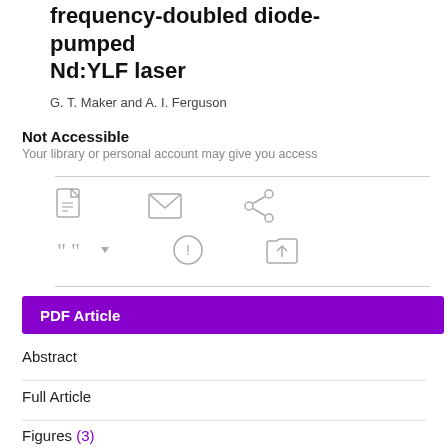frequency-doubled diode-pumped Nd:YLF laser
G. T. Maker and A. I. Ferguson
Not Accessible
Your library or personal account may give you access
[Figure (infographic): Row of three icons: PDF document icon, envelope/email icon, share icon]
[Figure (infographic): Row of three icons: citation/quote icon with dropdown arrow, info-circle icon, folder-upload icon]
PDF Article
Abstract
Full Article
Figures (3)